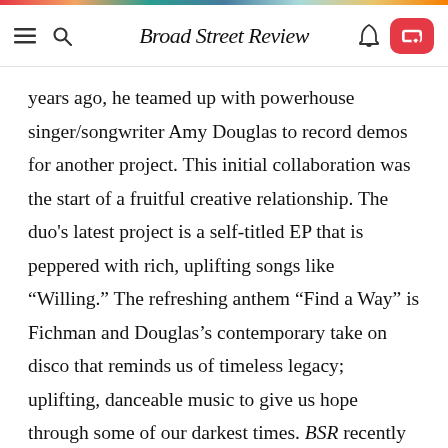Broad Street Review
years ago, he teamed up with powerhouse singer/songwriter Amy Douglas to record demos for another project. This initial collaboration was the start of a fruitful creative relationship. The duo’s latest project is a self-titled EP that is peppered with rich, uplifting songs like “Willing.” The refreshing anthem “Find a Way” is Fichman and Douglas’s contemporary take on disco that reminds us of timeless legacy; uplifting, danceable music to give us hope through some of our darkest times. BSR recently spoke with Fichman to discuss the project and how Philly’s amazing yet unheralded musical history inspired it.